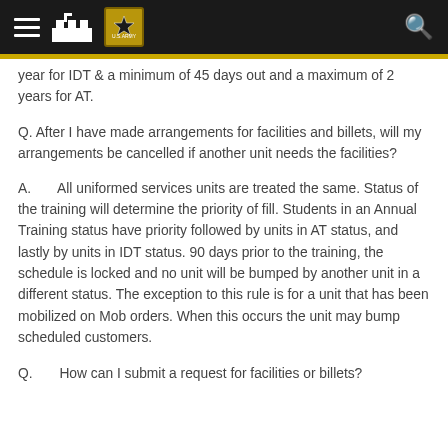U.S. Army navigation header
year for IDT & a minimum of 45 days out and a maximum of 2 years for AT.
Q.  After I have made arrangements for facilities and billets, will my arrangements be cancelled if another unit needs the facilities?
A.       All uniformed services units are treated the same.  Status of the training will determine the priority of fill.  Students in an Annual Training status have priority followed by units in AT status, and lastly by units in IDT status.  90 days prior to the training, the schedule is locked and no unit will be bumped by another unit in a different status.  The exception to this rule is for a unit that has been mobilized on Mob orders.  When this occurs the unit may bump scheduled customers.
Q.       How can I submit a request for facilities or billets?